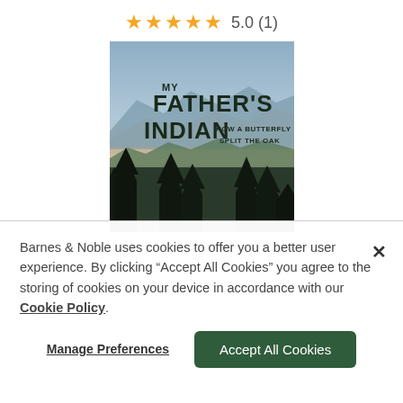★★★★★  5.0 (1)
[Figure (illustration): Book cover for 'My Father's Indian: How a Butterfly Split the Oak' showing a landscape with mountains, fog, and silhouetted trees at dusk]
Barnes & Noble uses cookies to offer you a better user experience. By clicking "Accept All Cookies" you agree to the storing of cookies on your device in accordance with our Cookie Policy.
Manage Preferences
Accept All Cookies